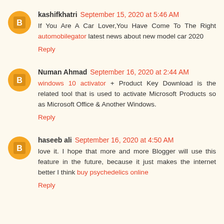kashifkhatri September 15, 2020 at 5:46 AM
If You Are A Car Lover,You Have Come To The Right automobilegator latest news about new model car 2020
Reply
Numan Ahmad September 16, 2020 at 2:44 AM
windows 10 activator + Product Key Download is the related tool that is used to activate Microsoft Products so as Microsoft Office & Another Windows.
Reply
haseeb ali September 16, 2020 at 4:50 AM
love it. I hope that more and more Blogger will use this feature in the future, because it just makes the internet better I think buy psychedelics online
Reply